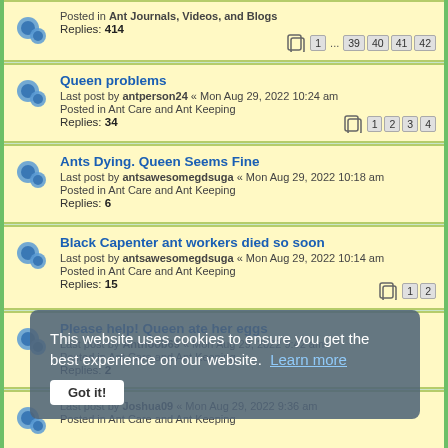Posted in Ant Journals, Videos, and Blogs
Replies: 414
Pages: 1 ... 39 40 41 42
Queen problems
Last post by antperson24 « Mon Aug 29, 2022 10:24 am
Posted in Ant Care and Ant Keeping
Replies: 34
Pages: 1 2 3 4
Ants Dying. Queen Seems Fine
Last post by antsawesomegdsuga « Mon Aug 29, 2022 10:18 am
Posted in Ant Care and Ant Keeping
Replies: 6
Black Capenter ant workers died so soon
Last post by antsawesomegdsuga « Mon Aug 29, 2022 10:14 am
Posted in Ant Care and Ant Keeping
Replies: 15
Pages: 1 2
Please help! Queen ate her eggs
Last post by Antnoob69 « Mon Aug 29, 2022 9:42 am
Posted in Ant Care and Ant Keeping
Replies: 2
Last post by Joshua09 « Mon Aug 29, 2022 9:36 am
Posted in Ant Care and Ant Keeping
I need assistance with my Cataulacus queen.
Last post by JaydenScheepers « Mon Aug 29, 2022 8:10 am
Posted in Ant Care and Ant Keeping
Replies: 11
Pages: 1 2
Ant idenfication.
This website uses cookies to ensure you get the best experience on our website. Learn more
Got it!